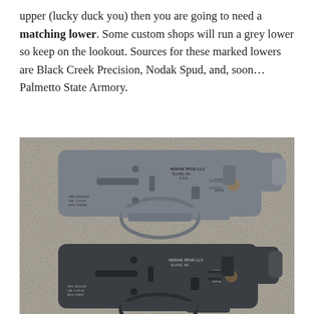upper (lucky duck you) then you are going to need a matching lower. Some custom shops will run a grey lower so keep on the lookout. Sources for these marked lowers are Black Creek Precision, Nodak Spud, and, soon… Palmetto State Armory.
[Figure (photo): Photo showing two AR-15 lower receivers stacked on a concrete surface. The top one is grey/dark grey finish with Nodak Spud LLC markings (Blaine, MN, USA) and selector markings. The bottom one is black/dark finish, also with Nodak Spud markings. Both show serial numbers and caliber markings on the side.]